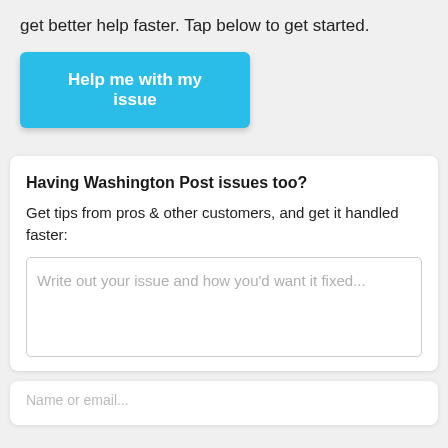get better help faster. Tap below to get started.
[Figure (other): Blue button labeled 'Help me with my issue']
Having Washington Post issues too?
Get tips from pros & other customers, and get it handled faster:
[Figure (other): Text input box with placeholder text 'Write out your issue and how you'd want it fixed...']
[Figure (other): Partially visible text input box at bottom of page]